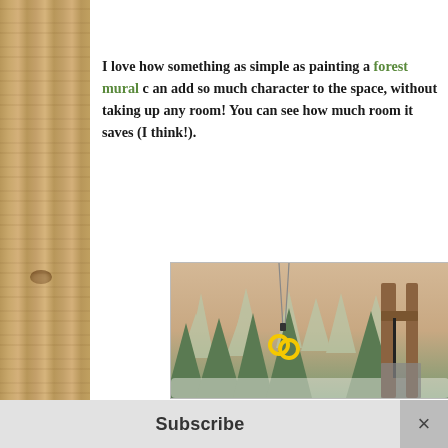I love how something as simple as painting a forest mural can add so much character to the space, without taking up any room! You can see how much room it saves (I think!).
[Figure (photo): A children's bedroom with a painted forest mural on the wall featuring green pine trees on a gradient background. Yellow gymnastics rings hang from ropes attached to the ceiling. A wooden bunk bed frame is visible on the right side of the image.]
Subscribe  ×